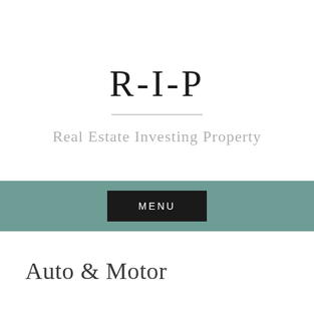R-I-P
Real Estate Investing Property
MENU
Auto & Motor